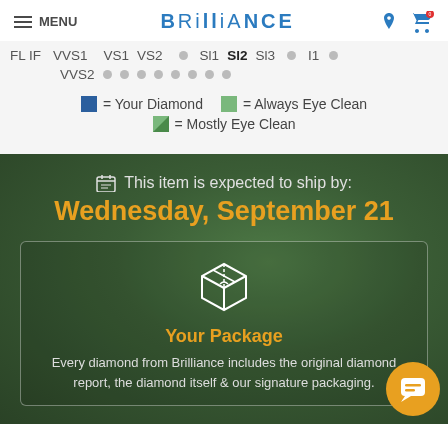MENU | BRILLIANCE
FL IF  VVS1  VS1 VS2  SI1 SI2 SI3  I1
VVS2
■ = Your Diamond  ■ = Always Eye Clean
■ = Mostly Eye Clean
📅 This item is expected to ship by:
Wednesday, September 21
Your Package
Every diamond from Brilliance includes the original diamond report, the diamond itself & our signature packaging.